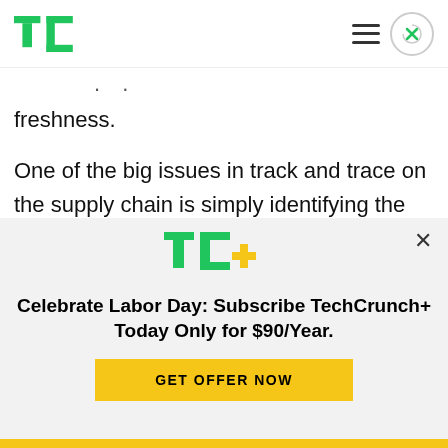TechCrunch header with logo, hamburger menu, and close button
freshness.
One of the big issues in track and trace on the supply chain is simply identifying the universe of items in motion across the world at any given moment. RFID tagging provides a way to give each of these items a digital identity, which can be placed
[Figure (logo): TC+ logo (TechCrunch plus) in green and yellow]
Celebrate Labor Day: Subscribe TechCrunch+ Today Only for $90/Year.
GET OFFER NOW